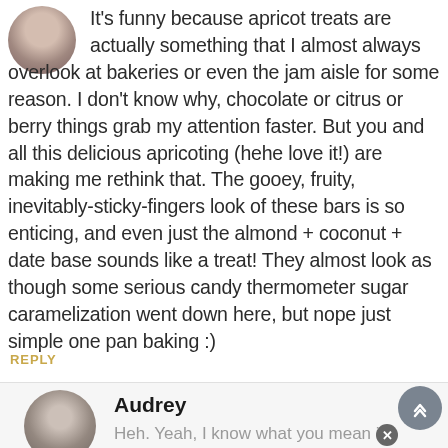It's funny because apricot treats are actually something that I almost always overlook at bakeries or even the jam aisle for some reason. I don't know why, chocolate or citrus or berry things grab my attention faster. But you and all this delicious apricoting (hehe love it!) are making me rethink that. The gooey, fruity, inevitably-sticky-fingers look of these bars is so enticing, and even just the almond + coconut + date base sounds like a treat! They almost look as though some serious candy thermometer sugar caramelization went down here, but nope just simple one pan baking :)
REPLY
Audrey
Heh. Yeah, I know what you mean if someone asked me what's my